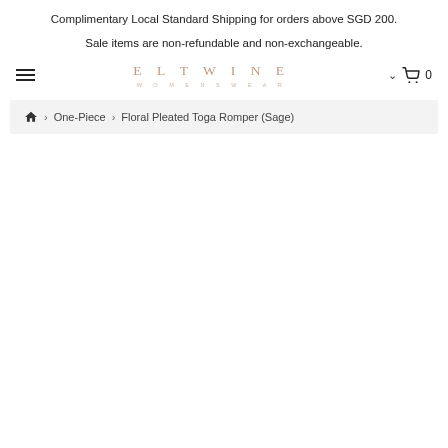Complimentary Local Standard Shipping for orders above SGD 200.
Sale items are non-refundable and non-exchangeable.
ELTWINE WOMENSWEAR — navigation bar with hamburger menu, brand logo, dropdown, and cart (0)
Home › One-Piece › Floral Pleated Toga Romper (Sage)